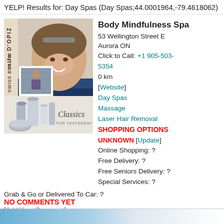YELP! Results for: Day Spas (Day Spas;44.0001964,-79.4618062)
[Figure (photo): Advertisement photo for Mila D'Opiz Swiss Beauty products showing a smiling woman resting her chin on her arms, with a smaller inset photo and beauty product bottles labeled 'Classics For Yesterday and Today']
Body Mindfulness Spa
53 Wellington Street E
Aurora ON
Click to Call: +1 905-503-5354
0 km
[Website]
Day Spas
Massage
Laser Hair Removal
SHOPPING OPTIONS UNKNOWN [Update]
Online Shopping: ?
Free Delivery: ?
Free Seniors Delivery: ?
Special Services: ?
Grab & Go or Delivered To Car: ?
NO COMMENTS YET
[Add Your Comment]